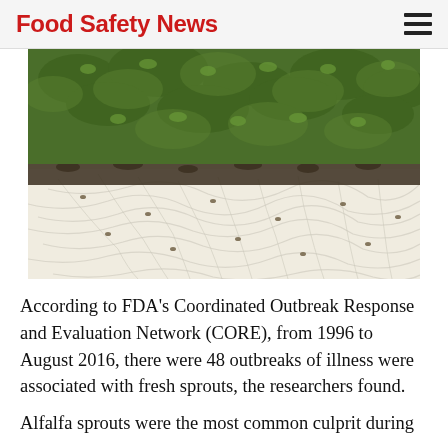Food Safety News
[Figure (photo): Close-up photograph of sprouting alfalfa/cress sprouts showing dense green leafy tops with white tangled roots and seeds below]
According to FDA's Coordinated Outbreak Response and Evaluation Network (CORE), from 1996 to August 2016, there were 48 outbreaks of illness were associated with fresh sprouts, the researchers found.
Alfalfa sprouts were the most common culprit during the study period, with 28 outbreaks. The...